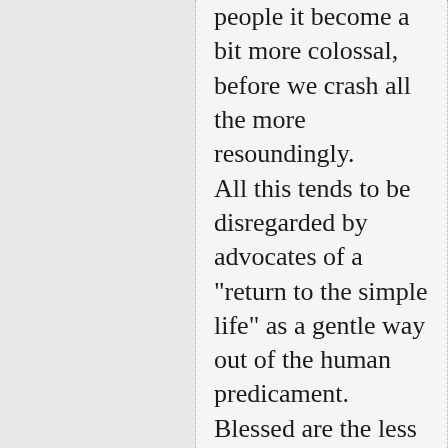people it become a bit more colossal, before we crash all the more resoundingly. All this tends to be disregarded by advocates of a "return to the simple life" as a gentle way out of the human predicament. Blessed are the less prosthetic, for they shall inherit the ravaged earth. Probably so, in the long run. But some view the dark cloud of fuel